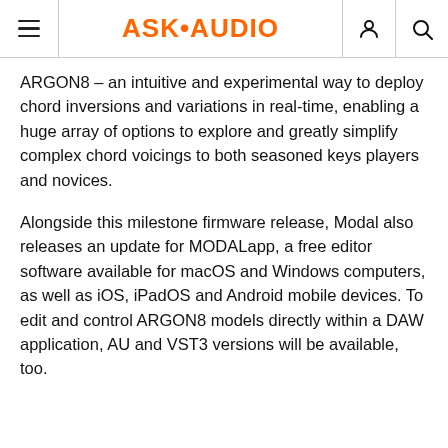ASK•AUDIO
ARGON8 – an intuitive and experimental way to deploy chord inversions and variations in real-time, enabling a huge array of options to explore and greatly simplify complex chord voicings to both seasoned keys players and novices.
Alongside this milestone firmware release, Modal also releases an update for MODALapp, a free editor software available for macOS and Windows computers, as well as iOS, iPadOS and Android mobile devices. To edit and control ARGON8 models directly within a DAW application, AU and VST3 versions will be available, too.